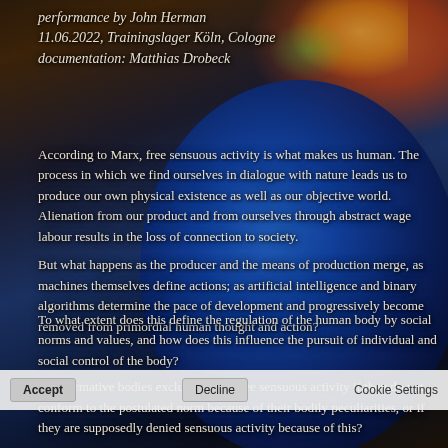[Figure (photo): Dark bokeh background photo with a large blue metallic or ceramic rounded object in the foreground, blurred colorful bokeh lights (orange, yellow, green) in the upper right background. Dark tones overall.]
performance by John Herman
11.06.2022, Trainingslager Köln, Cologne
documentation: Matthias Drobeck
According to Marx, free sensuous activity is what makes us human. The process in which we find ourselves in dialogue with nature leads us to produce our own physical existence as well as our objective world. Alienation from our product and from ourselves through abstract wage labour results in the loss of connection to society.
But what happens as the producer and the means of production merge, as machines themselves define actions; as artificial intelligence and binary algorithms determine the pace of development and progressively become removed from primordial human thought and action?
To what extent does this define the regulation of the human body by social norms and values, and how does this influence the pursuit of individual and social control of the body?
Are normative bodies excluded from free sensuous activity if they do not conform to the postulated norm because of their bodily peculiarities, or if they are supposedly denied sensuous activity because of this?